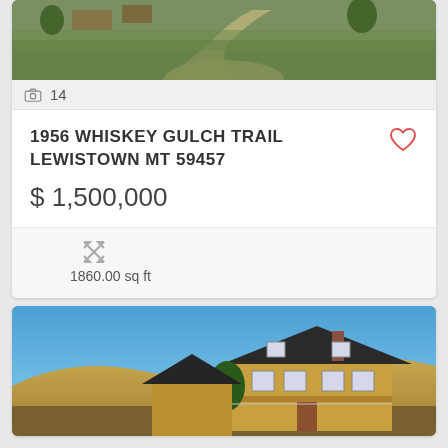[Figure (photo): Partial view of rural property with gravel path and green vegetation]
14
1956 WHISKEY GULCH TRAIL LEWISTOWN MT 59457
$ 1,500,000
1860.00 sq ft
[Figure (photo): Two-story craftsman style house with yellow siding under a blue sky with rolling hills in background]